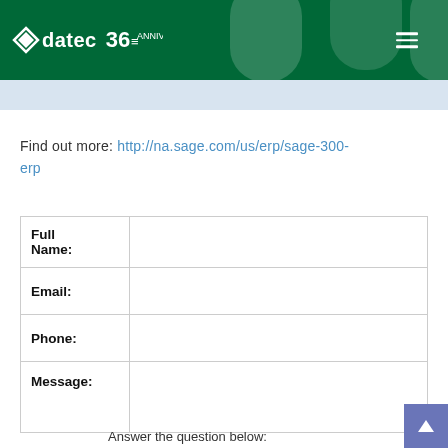[Figure (logo): Datec 36 anniversary logo on dark green header bar with decorative rounded shapes and hamburger menu icon]
Find out more: http://na.sage.com/us/erp/sage-300-erp
|  |  |
| --- | --- |
| Full Name: |  |
| Email: |  |
| Phone: |  |
| Message: |  |
|  | Answer the question below: |